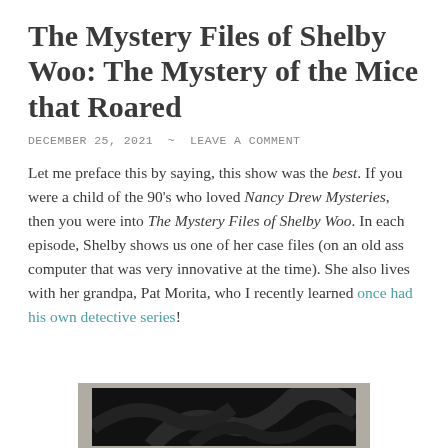The Mystery Files of Shelby Woo: The Mystery of the Mice that Roared
DECEMBER 25, 2021 ~ LEAVE A COMMENT
Let me preface this by saying, this show was the best. If you were a child of the 90's who loved Nancy Drew Mysteries, then you were into The Mystery Files of Shelby Woo. In each episode, Shelby shows us one of her case files (on an old ass computer that was very innovative at the time). She also lives with her grandpa, Pat Morita, who I recently learned once had his own detective series!
[Figure (photo): Partial photo visible at bottom of page, showing a dark screen or monitor in a light-colored frame/bezel, with dark swirling or decorative content on screen.]